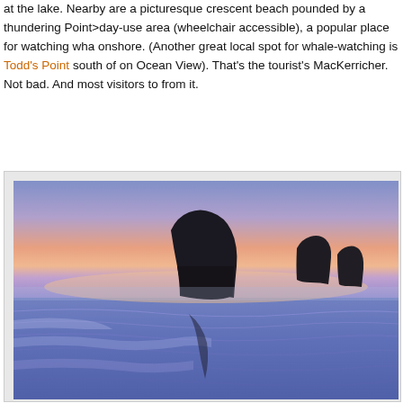at the lake. Nearby are a picturesque crescent beach pounded by a thundering Point>day-use area (wheelchair accessible), a popular place for watching wha onshore. (Another great local spot for whale-watching is Todd's Point south of on Ocean View). That's the tourist's MacKerricher. Not bad. And most visitors to from it.
[Figure (photo): A dramatic coastal sunset/twilight scene showing a large dark sea stack rock silhouetted against a purple, pink, and orange gradient sky. The wet beach in the foreground reflects blue and purple hues, with gentle waves washing across the sand. Additional smaller rock formations are visible in the background on the right.]